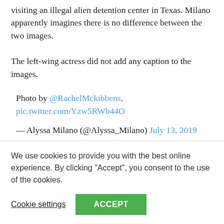visiting an illegal alien detention center in Texas. Milano apparently imagines there is no difference between the two images.
The left-wing actress did not add any caption to the images.
Photo by @RachelMckibbens. pic.twitter.com/Yzw5RWb44O
— Alyssa Milano (@Alyssa_Milano) July 13, 2019
The tweet came on the heels of the vice president's visit to
We use cookies to provide you with the best online experience. By clicking "Accept", you consent to the use of the cookies.
Cookie settings
ACCEPT